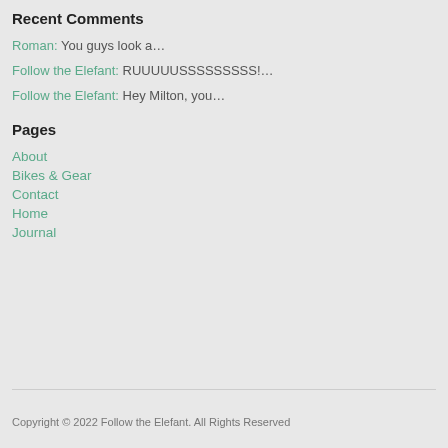Recent Comments
Roman: You guys look a…
Follow the Elefant: RUUUUUSSSSSSSSS!…
Follow the Elefant: Hey Milton, you…
Pages
About
Bikes & Gear
Contact
Home
Journal
Copyright © 2022 Follow the Elefant. All Rights Reserved